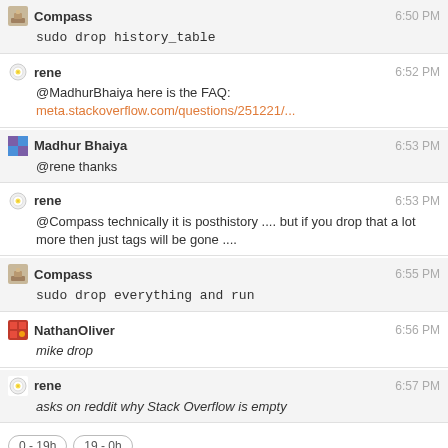Compass  6:50 PM
sudo drop history_table
rene  6:52 PM
@MadhurBhaiya here is the FAQ: meta.stackoverflow.com/questions/251221/...
Madhur Bhaiya  6:53 PM
@rene thanks
rene  6:53 PM
@Compass technically it is posthistory .... but if you drop that a lot more then just tags will be gone ....
Compass  6:55 PM
sudo drop everything and run
NathanOliver  6:56 PM
mike drop
rene  6:57 PM
asks on reddit why Stack Overflow is empty
0 - 19h   19 - 0h
← prev day   next day →   last day »
join this room